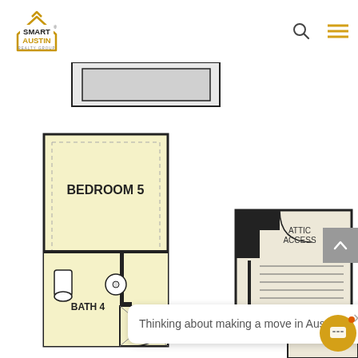[Figure (logo): Smart Austin Realty Group logo with a house outline in orange/gold and black bold text SMART AUSTIN with REALTY GROUP below]
[Figure (engineering-diagram): Floor plan showing Bedroom 5 (yellow fill), Bath 4, Linen closet, Attic Access area, and part of another bedroom (Bedroom 4). Includes bathroom fixtures, stairs, and architectural wall details.]
Thinking about making a move in Austin?